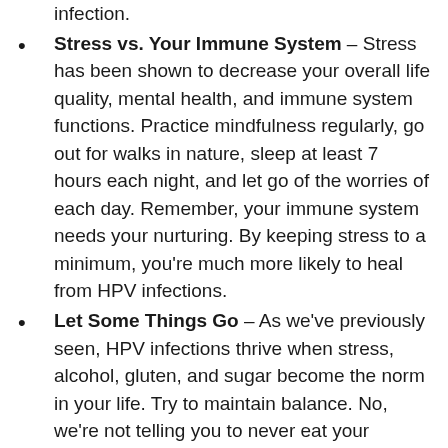infection.
Stress vs. Your Immune System – Stress has been shown to decrease your overall life quality, mental health, and immune system functions. Practice mindfulness regularly, go out for walks in nature, sleep at least 7 hours each night, and let go of the worries of each day. Remember, your immune system needs your nurturing. By keeping stress to a minimum, you're much more likely to heal from HPV infections.
Let Some Things Go – As we've previously seen, HPV infections thrive when stress, alcohol, gluten, and sugar become the norm in your life. Try to maintain balance. No, we're not telling you to never eat your favorite dessert ever again. We're simply suggesting that sugar is one of the main culprits of persistent HPV infections. When you let some